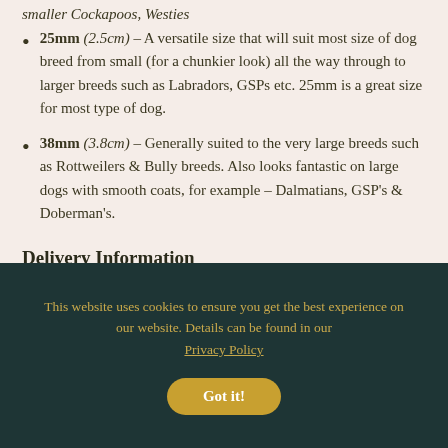smaller Cockapoos, Westies
25mm (2.5cm) – A versatile size that will suit most size of dog breed from small (for a chunkier look) all the way through to larger breeds such as Labradors, GSPs etc. 25mm is a great size for most type of dog.
38mm (3.8cm) – Generally suited to the very large breeds such as Rottweilers & Bully breeds. Also looks fantastic on large dogs with smooth coats, for example – Dalmatians, GSP's & Doberman's.
Delivery Information
This website uses cookies to ensure you get the best experience on our website. Details can be found in our Privacy Policy
Got it!